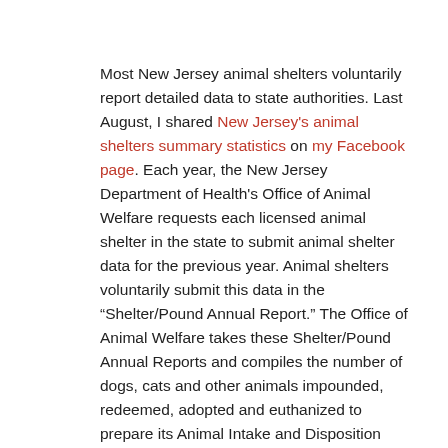Most New Jersey animal shelters voluntarily report detailed data to state authorities. Last August, I shared New Jersey's animal shelters summary statistics on my Facebook page. Each year, the New Jersey Department of Health's Office of Animal Welfare requests each licensed animal shelter in the state to submit animal shelter data for the previous year. Animal shelters voluntarily submit this data in the "Shelter/Pound Annual Report." The Office of Animal Welfare takes these Shelter/Pound Annual Reports and compiles the number of dogs, cats and other animals impounded, redeemed, adopted and euthanized to prepare its Animal Intake and Disposition report. However, the Shelter/Pound Annual Reports include additional information on how animals were impounded (i.e. strays, owner surrenders, rescued from in-state facilities, rescued from out of state shelters, and cruelty/bite cases) and disposed of (i.e. returned to owner, adopted, sent to rescue/another shelter, and died/missing). Additionally, the Shelter/Pound Annual Reports include the number of animals in shelters at the beginning and end of the